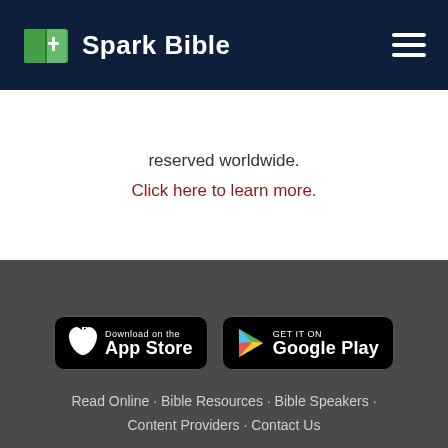Spark Bible
reserved worldwide.
Click here to learn more.
[Figure (logo): Download on the App Store badge]
[Figure (logo): Get it on Google Play badge]
Read Online · Bible Resources · Bible Speakers · Content Providers · Contact Us